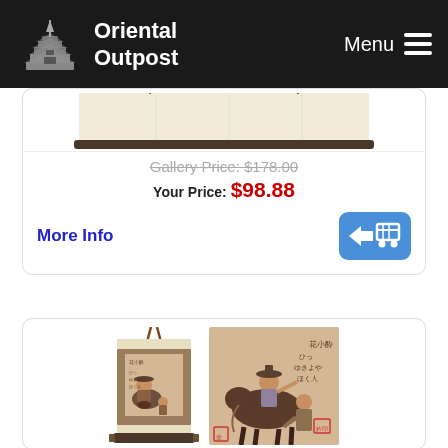Oriental Outpost — Menu
[Figure (photo): Partial view of a hanging scroll painting product image]
Gallery Price: $178.00
Your Price: $98.88
More Info
[Figure (photo): Japanese hanging scroll showing a figure riding an ox/horse with attendant, alongside the original woodblock print artwork. The scroll painting depicts Hanshan (Cold Mountain) poetry scene.]